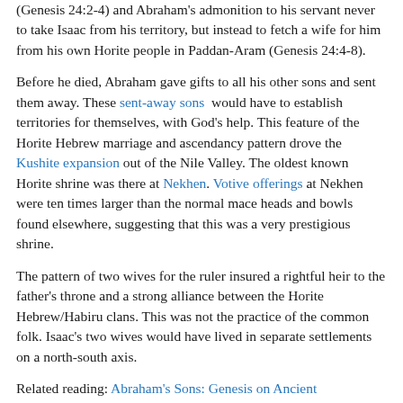(Genesis 24:2-4) and Abraham's admonition to his servant never to take Isaac from his territory, but instead to fetch a wife for him from his own Horite people in Paddan-Aram (Genesis 24:4-8).
Before he died, Abraham gave gifts to all his other sons and sent them away. These sent-away sons would have to establish territories for themselves, with God's help. This feature of the Horite Hebrew marriage and ascendancy pattern drove the Kushite expansion out of the Nile Valley. The oldest known Horite shrine was there at Nekhen. Votive offerings at Nekhen were ten times larger than the normal mace heads and bowls found elsewhere, suggesting that this was a very prestigious shrine.
The pattern of two wives for the ruler insured a rightful heir to the father's throne and a strong alliance between the Horite Hebrew/Habiru clans. This was not the practice of the common folk. Isaac's two wives would have lived in separate settlements on a north-south axis.
Related reading: Abraham's Sons: Genesis on Ancient